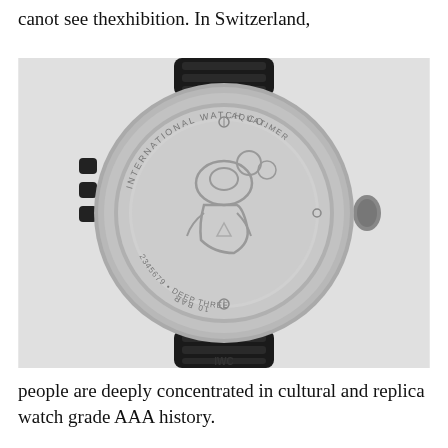canot see thexhibition. In Switzerland,
[Figure (photo): Photograph of the back of an IWC Aquatimer Deep Three watch showing the case back with engraved diver figure, text reading INTERNATIONAL WATCH CO., AQUATIMER, DEEP THREE, 2345679, 10 BAR, with black rubber strap and IWC logo.]
people are deeply concentrated in cultural and replica watch grade AAA history.